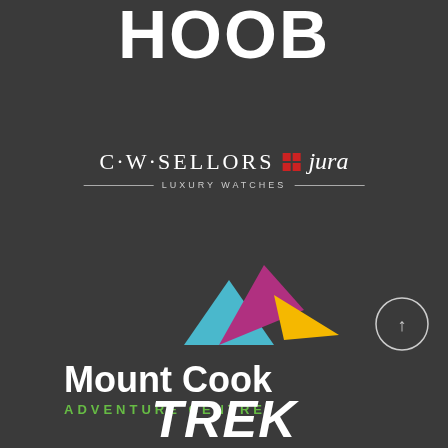[Figure (logo): HOOB brand logo in white bold stylized font on dark grey background]
[Figure (logo): C.W. SELLORS + jura Luxury Watches logo in white on dark grey background, with a red 2x2 grid icon between the two brand names and decorative lines flanking 'LUXURY WATCHES']
[Figure (logo): Mount Cook Adventure Centre logo with geometric mountain triangles in teal, magenta, and yellow, white bold text 'Mount Cook' and green uppercase text 'ADVENTURE CENTRE']
[Figure (logo): TREK brand logo in white stylized italic font partially visible at bottom of page]